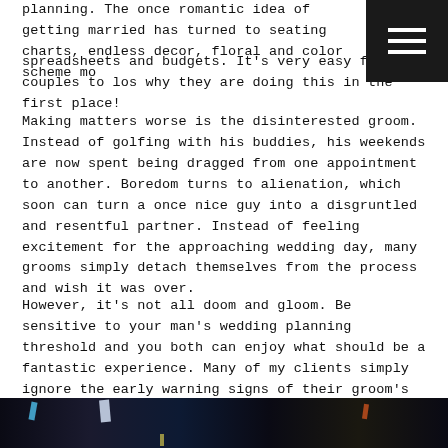planning. The once romantic idea of getting married has turned to seating charts, endless decor, floral and color scheme mo... spreadsheets and budgets. It's very easy for couples to los... why they are doing this in the first place!
Making matters worse is the disinterested groom. Instead of golfing with his buddies, his weekends are now spent being dragged from one appointment to another. Boredom turns to alienation, which soon can turn a once nice guy into a disgruntled and resentful partner. Instead of feeling excitement for the approaching wedding day, many grooms simply detach themselves from the process and wish it was over.
However, it's not all doom and gloom. Be sensitive to your man's wedding planning threshold and you both can enjoy what should be a fantastic experience. Many of my clients simply ignore the early warning signs of their groom's fading interest.
[Figure (photo): Dark photo strip at bottom of page showing colorful lights against a dark background]